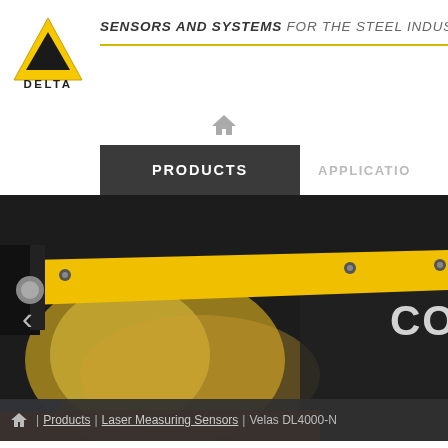[Figure (logo): Delta logo: yellow triangle with 'DELTA' text below]
SENSORS AND SYSTEMS FOR THE STEEL INDUSTRY
[Figure (screenshot): Website navigation screenshot showing PRODUCTS tab selected and APPLICATIO(NS) tab partially visible, with a home icon above. Below is a large product image showing a yellow sensor bar/panel against a dark background, with a left chevron navigation arrow visible.]
Home | Products | Laser Measuring Sensors | Velas DL4000-N